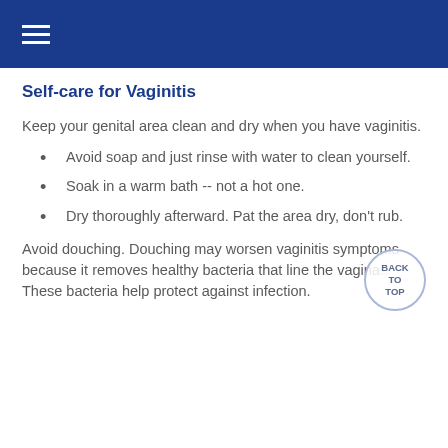≡
Self-care for Vaginitis
Keep your genital area clean and dry when you have vaginitis.
Avoid soap and just rinse with water to clean yourself.
Soak in a warm bath -- not a hot one.
Dry thoroughly afterward. Pat the area dry, don't rub.
Avoid douching. Douching may worsen vaginitis symptoms because it removes healthy bacteria that line the vagina. These bacteria help protect against infection.